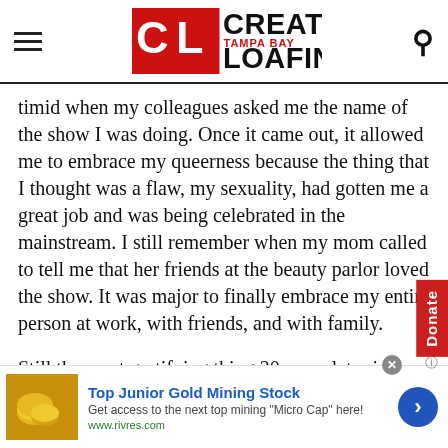Creative Loafing Tampa Bay — navigation header with hamburger menu and search icon
timid when my colleagues asked me the name of the show I was doing. Once it came out, it allowed me to embrace my queerness because the thing that I thought was a flaw, my sexuality, had gotten me a great job and was being celebrated in the mainstream. I still remember when my mom called to tell me that her friends at the beauty parlor loved the show. It was major to finally embrace my entire person at work, with friends, and with family.
Still the most gratifying thing 20 years later is when I me young people who say, "Queer Eye allowed me to have a conversation with my family about being gay, and it mad
[Figure (other): Advertisement for Top Junior Gold Mining Stock from www.rivres.com with gold coin image and blue arrow button]